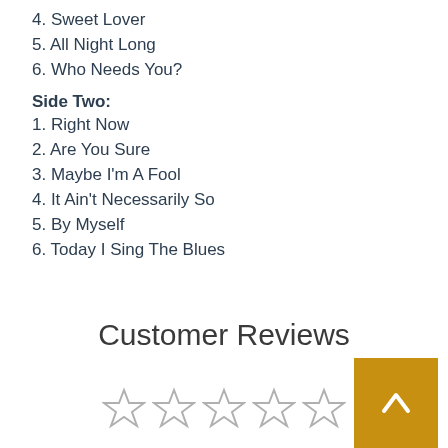4. Sweet Lover
5. All Night Long
6. Who Needs You?
Side Two:
1. Right Now
2. Are You Sure
3. Maybe I'm A Fool
4. It Ain't Necessarily So
5. By Myself
6. Today I Sing The Blues
Customer Reviews
[Figure (other): Five empty star rating icons and a golden scroll-to-top button]